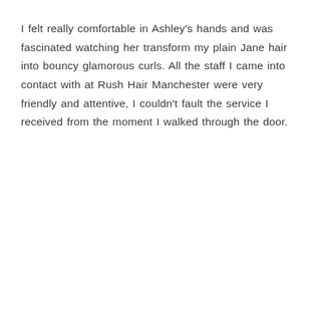I felt really comfortable in Ashley's hands and was fascinated watching her transform my plain Jane hair into bouncy glamorous curls. All the staff I came into contact with at Rush Hair Manchester were very friendly and attentive, I couldn't fault the service I received from the moment I walked through the door.